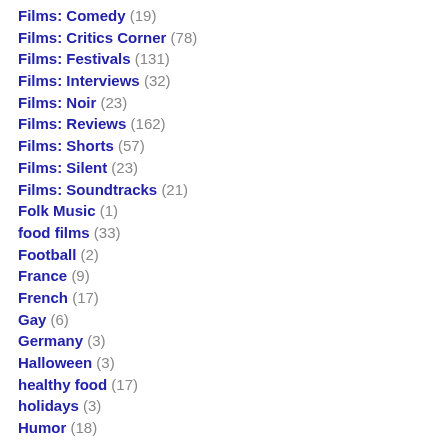Films: Comedy (19)
Films: Critics Corner (78)
Films: Festivals (131)
Films: Interviews (32)
Films: Noir (23)
Films: Reviews (162)
Films: Shorts (57)
Films: Silent (23)
Films: Soundtracks (21)
Folk Music (1)
food films (33)
Football (2)
France (9)
French (17)
Gay (6)
Germany (3)
Halloween (3)
healthy food (17)
holidays (3)
Humor (18)